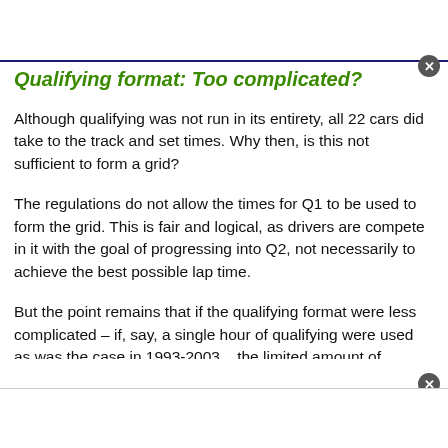Qualifying format: Too complicated?
Although qualifying was not run in its entirety, all 22 cars did take to the track and set times. Why then, is this not sufficient to form a grid?
The regulations do not allow the times for Q1 to be used to form the grid. This is fair and logical, as drivers are compete in it with the goal of progressing into Q2, not necessarily to achieve the best possible lap time.
But the point remains that if the qualifying format were less complicated – if, say, a single hour of qualifying were used as was the case in 1993-2003... the limited amount of running th